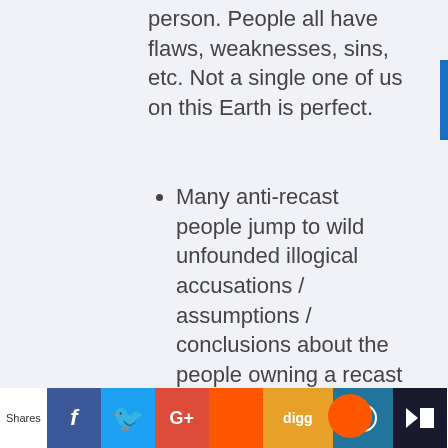person. People all have flaws, weaknesses, sins, etc. Not a single one of us on this Earth is perfect.
Many anti-recast people jump to wild unfounded illogical accusations / assumptions / conclusions about the people owning a recast about their other morals, characteristics
Shares [Facebook] [Twitter] [Google+] [Reddit] [Digg] [WordPress] [su]